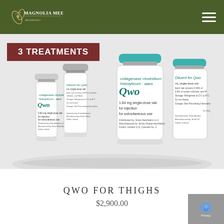Magnolia Medical Aesthetics
3 TREATMENTS
[Figure (photo): Four pharmaceutical vials of QWO (collagenase clostridium histolyticum-aaes) and Diluent for Qwo, showing labels: collagenase clostridium histolyticum - aaes QWO 0.92 mg single-dose vial for injection for subcutaneous use, and 1.84 mg single-dose vial for injection for subcutaneous use, plus two Diluent for Qwo vials.]
QWO FOR THIGHS
$2,900.00